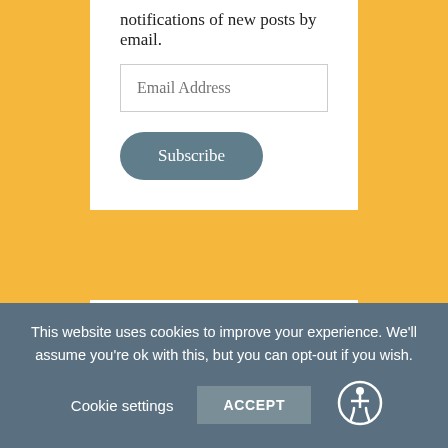notifications of new posts by email.
Email Address
Subscribe
H&WR Social
[Figure (infographic): Four social media icons in a row: Twitter (blue), Instagram (gradient), Pinterest (red), Goodreads (tan/beige)]
This website uses cookies to improve your experience. We'll assume you're ok with this, but you can opt-out if you wish.
Cookie settings
ACCEPT
[Figure (illustration): Accessibility icon: person in wheelchair inside a circle, white on dark teal background]